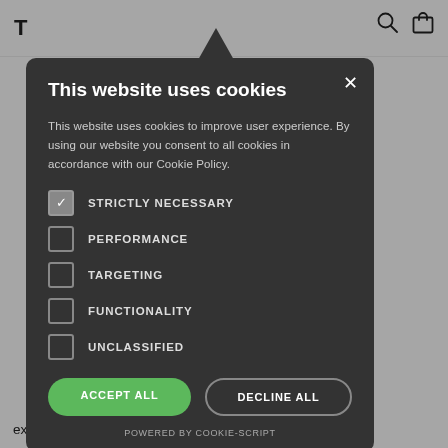T
e fetish
scribes a fetish
d presence is
otionally aroused
n be that they
n underwear or
oyeuristic
excitement watching someone in their underwear, among
[Figure (screenshot): Cookie consent modal dialog with dark background (#333), showing title 'This website uses cookies', descriptive text, checkboxes for STRICTLY NECESSARY (checked), PERFORMANCE, TARGETING, FUNCTIONALITY, UNCLASSIFIED, and two buttons: ACCEPT ALL (green) and DECLINE ALL (outline), with POWERED BY COOKIE-SCRIPT at bottom. A black triangle pointer appears above the modal.]